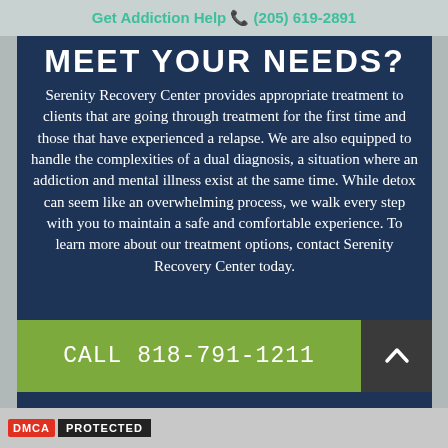Get Addiction Help ☎ (205) 619-2891
MEET YOUR NEEDS?
Serenity Recovery Center provides appropriate treatment to clients that are going through treatment for the first time and those that have experienced a relapse. We are also equipped to handle the complexities of a dual diagnosis, a situation where an addiction and mental illness exist at the same time. While detox can seem like an overwhelming process, we walk every step with you to maintain a safe and comfortable experience. To learn more about our treatment options, contact Serenity Recovery Center today.
CALL 818-791-1211
DMCA PROTECTED